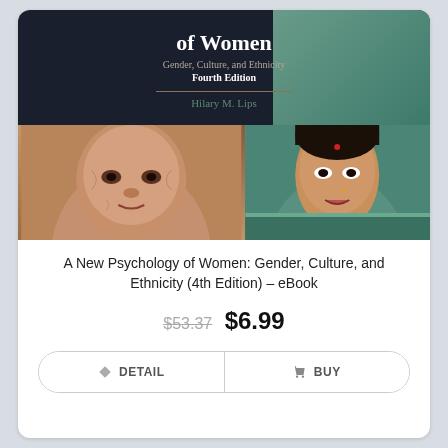[Figure (photo): Book cover of 'A New Psychology of Women: Gender, Culture, and Ethnicity, Fourth Edition' by Hilary M. Lips. Top half shows dark background with title text; bottom half shows two photos of women — an elderly Asian woman on the left and an Indian woman in traditional dress on the right.]
A New Psychology of Women: Gender, Culture, and Ethnicity (4th Edition) – eBook
$53.37 $6.99
DETAIL
BUY